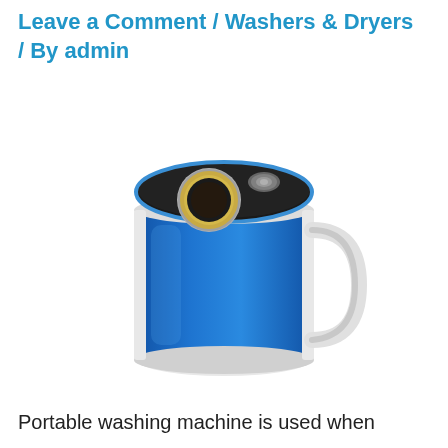Leave a Comment / Washers & Dryers / By admin
[Figure (photo): A compact portable washing machine with a blue transparent cylindrical body, white base and handle, and a black top lid with a metallic dial/knob and a circular porthole window.]
Portable washing machine is used when